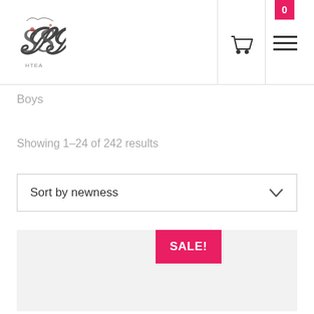[Figure (logo): HTEA decorative script logo with floral embellishments]
Boys
Showing 1–24 of 242 results
Sort by newness
[Figure (other): Product image placeholder with SALE! badge]